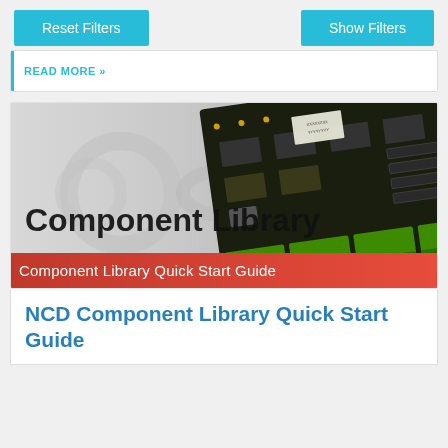Reset Filters
Show Filters
READ MORE »
[Figure (photo): Photograph of an electronic PCB/controller board with green terminal connectors and black components, overlaid with 'Component Library' text and a watermark logo. A red banner at the bottom reads 'Component Library Quick Start Guide'.]
NCD Component Library Quick Start Guide